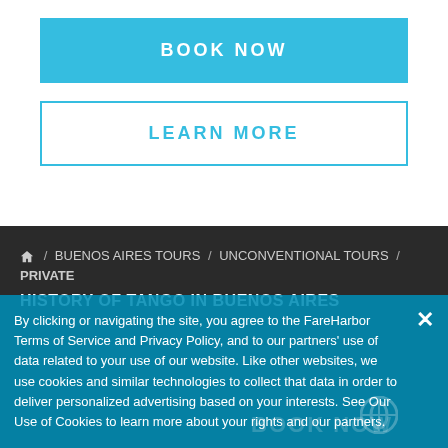BOOK NOW
LEARN MORE
🏠 / BUENOS AIRES TOURS / UNCONVENTIONAL TOURS / PRIVATE HISTORY OF TANGO IN BUENOS AIRES
PRIVATE HISTORY OF TANGO IN BUENOS AIRES
By clicking or navigating the site, you agree to the FareHarbor Terms of Service and Privacy Policy, and to our partners' use of data related to your use of our website. Like other websites, we use cookies and similar technologies to collect that data in order to deliver personalized advertising based on your interests. See Our Use of Cookies to learn more about your rights and our partners.